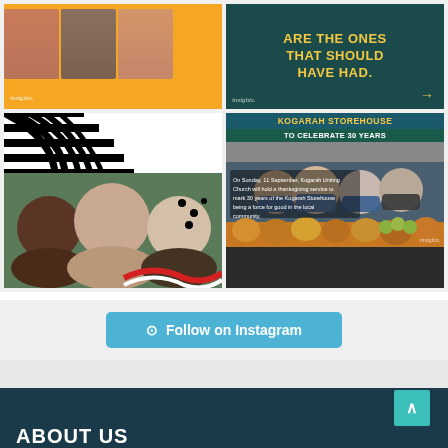[Figure (photo): Four-panel Instagram grid. Top-left: yellow background with three faces in small photo tiles and 'insights' script label. Top-right: dark teal background with gold text 'ARE THE ONES THAT SHOULD HAVE HAD.' and insights label with arrow. Bottom-left: group photo of three people (two women, one man) against black-and-white striped background with decorative dots and red curl. Bottom-right: Kogarah Storehouse event post with banner 'KOGARAH STOREHOUSE TO CELEBRATE 30 YEARS', photo of masked people with fruit/vegetables, and overlay text about thanksgiving service.]
Follow on Instagram
ABOUT US